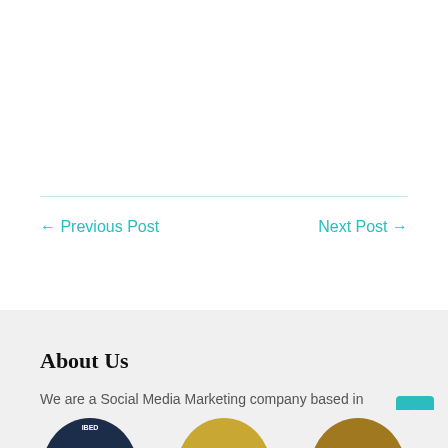← Previous Post
Next Post →
About Us
We are a Social Media Marketing company based in Windsor and Essex, Ontario serving clients based throughout Ontario, Canada and the USA.
[Figure (illustration): Three partially visible badge/award icons at the bottom of the page]
[Figure (illustration): Teal back-to-top button with upward chevron arrow]